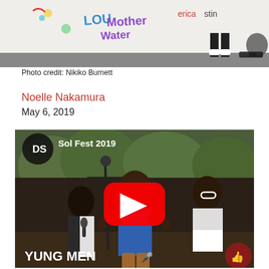[Figure (photo): Top portion of a mural/graffiti wall with colorful text reading 'LOU Mother Water' and 'erica', 'stin', partial figures visible, person crouching at far right]
Photo credit: Nikiko Burnett
Noelle Nakamura
May 6, 2019
[Figure (screenshot): YouTube video thumbnail for 'Sol Fest 2019' showing three young men performing on stage outdoors, with YouTube play button overlay. Text at bottom: 'YUNG MEN'. DS channel logo in top left corner. Like button in bottom right corner.]